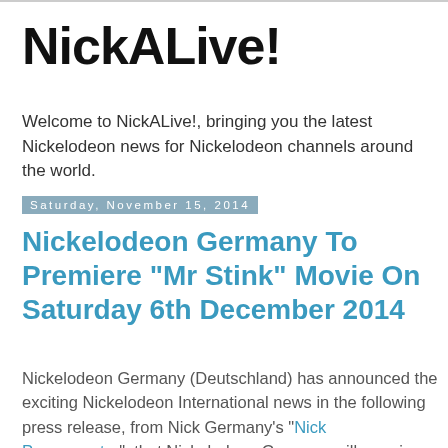NickALive!
Welcome to NickALive!, bringing you the latest Nickelodeon news for Nickelodeon channels around the world.
Saturday, November 15, 2014
Nickelodeon Germany To Premiere "Mr Stink" Movie On Saturday 6th December 2014
Nickelodeon Germany (Deutschland) has announced the exciting Nickelodeon International news in the following press release, from Nick Germany's "Nick Pressecenter", that Nickelodeon Germany will premiere and show the popular Christmas movie "Mr Stink", locally titled "Gestatten, Mr. Stink", on Saturday 6th December 2014 at 6pm, as part of the channels Christmas programming highlights! Following the films debut, Nick Germany will encore the movie at